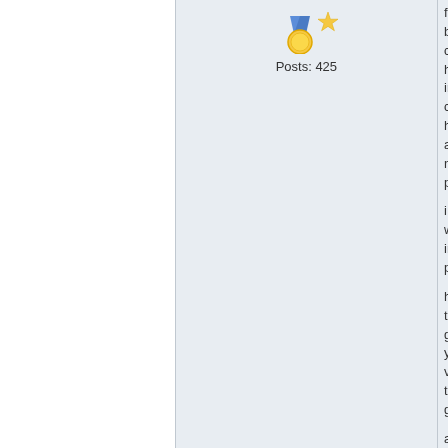[Figure (illustration): Medal/award icon with gold circle and blue ribbon, with a star next to it]
Posts: 425
follow budget chris horiz into c hotel a nig penth i walk imme palac holy t grand you v think grand after seen love t mysti touqu robin pullin head -- stic what with